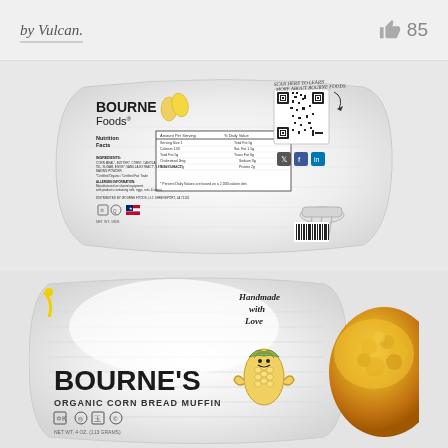by Vulcan.
85
[Figure (photo): Bourne Foods product package back label showing nutrition facts, ingredients, QR code, social media icons, and a hand mixer illustration]
[Figure (photo): Bourne's Organic Corn Bread Muffin front package with cartoon corn character, 'Handmade With Love' text, certification icons, and a real muffin photo on the right side]